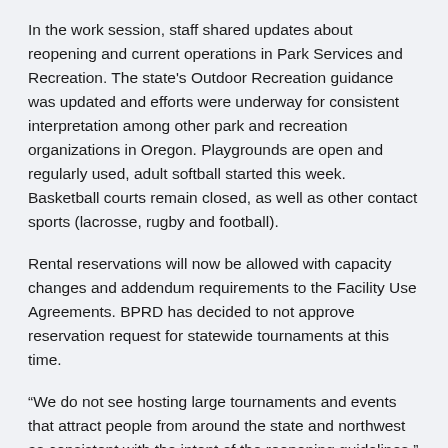In the work session, staff shared updates about reopening and current operations in Park Services and Recreation. The state's Outdoor Recreation guidance was updated and efforts were underway for consistent interpretation among other park and recreation organizations in Oregon. Playgrounds are open and regularly used, adult softball started this week. Basketball courts remain closed, as well as other contact sports (lacrosse, rugby and football).
Rental reservations will now be allowed with capacity changes and addendum requirements to the Facility Use Agreements. BPRD has decided to not approve reservation request for statewide tournaments at this time.
“We do not see hosting large tournaments and events that attract people from around the state and northwest as consistent with the intent of the reopening guidelines,” said Matt Mercer, recreation services director. “Our primary goal is to ensure parks are open and